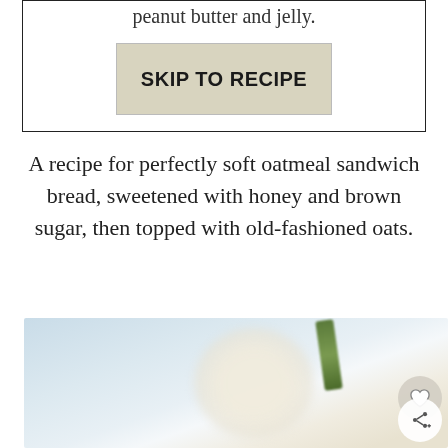peanut butter and jelly.
SKIP TO RECIPE
A recipe for perfectly soft oatmeal sandwich bread, sweetened with honey and brown sugar, then topped with old-fashioned oats.
[Figure (photo): A blurred close-up photo of a white ceramic cup or bowl with a green plant or herb element visible above it, on a light blue-white background, with a heart button and share button overlay icons.]